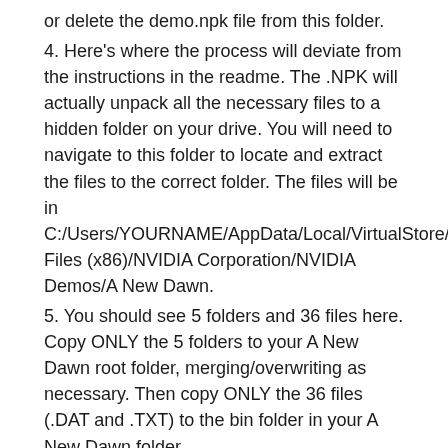or delete the demo.npk file from this folder.
4. Here's where the process will deviate from the instructions in the readme. The .NPK will actually unpack all the necessary files to a hidden folder on your drive. You will need to navigate to this folder to locate and extract the files to the correct folder. The files will be in C:/Users/YOURNAME/AppData/Local/VirtualStore/Program Files (x86)/NVIDIA Corporation/NVIDIA Demos/A New Dawn.
5. You should see 5 folders and 36 files here. Copy ONLY the 5 folders to your A New Dawn root folder, merging/overwriting as necessary. Then copy ONLY the 36 files (.DAT and .TXT) to the bin folder in your A New Dawn folder.
6. At this point, you can continue the instructions from the mod readme to complete the installation. Extract the bin folder and your chosen textures folder from the mod folder to your A New Dawn root folder, merging/overwriting as necessary. This is the best textures and should be perfectly fully functional always with